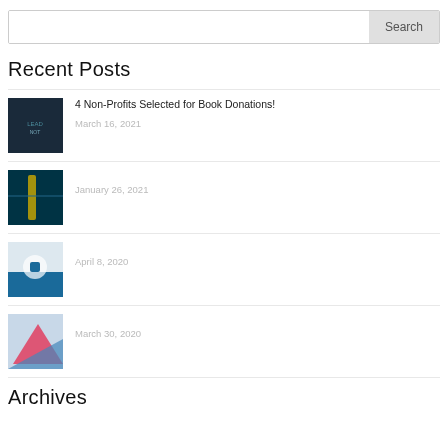[Figure (screenshot): Search bar with text input field and Search button]
Recent Posts
[Figure (photo): Dark blue book cover thumbnail]
4 Non-Profits Selected for Book Donations!
March 16, 2021
[Figure (photo): Dark teal graphic thumbnail]
January 26, 2021
[Figure (photo): Podcast related image thumbnail]
April 8, 2020
[Figure (photo): Chart/graph thumbnail]
March 30, 2020
Archives